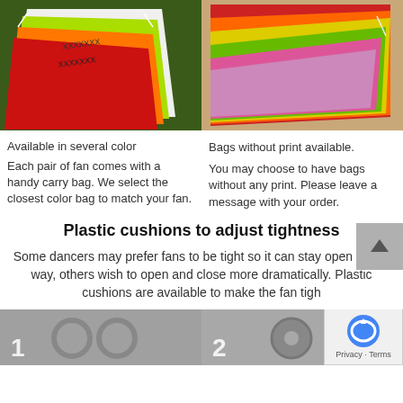[Figure (photo): Multiple colorful drawstring bags (white, green, yellow, orange, red) fanned out on green grass background]
[Figure (photo): Multiple colorful drawstring bags (red, orange, yellow, green, pink) fanned out on brown background]
Available in several color
Bags without print available.
Each pair of fan comes with a handy carry bag. We select the closest color bag to match your fan.
You may choose to have bags without any print. Please leave a message with your order.
Plastic cushions to adjust tightness
Some dancers may prefer fans to be tight so it can stay open all the way, others wish to open and close more dramatically. Plastic cushions are available to make the fan tigh
[Figure (photo): Gray photo showing circular cushion shapes with number 1 label]
[Figure (photo): Gray photo showing circular cushion shape with number 2 label]